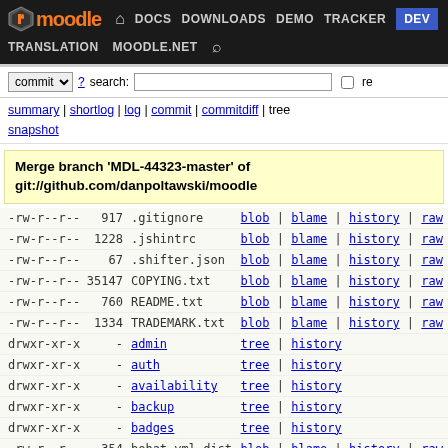[Figure (screenshot): Moodle website header with navigation links: DOCS, DOWNLOADS, DEMO, TRACKER, DEV (highlighted in blue), TRANSLATION, MOODLE.NET, and search icon]
commit ▼  ? search:  □ re
summary | shortlog | log | commit | commitdiff | tree snapshot
Merge branch 'MDL-44323-master' of git://github.com/danpoltawski/moodle
| permissions | size | name | links |
| --- | --- | --- | --- |
| -rw-r--r-- | 917 | .gitignore | blob | blame | history | raw |
| -rw-r--r-- | 1228 | .jshintrc | blob | blame | history | raw |
| -rw-r--r-- | 67 | .shifter.json | blob | blame | history | raw |
| -rw-r--r-- | 35147 | COPYING.txt | blob | blame | history | raw |
| -rw-r--r-- | 760 | README.txt | blob | blame | history | raw |
| -rw-r--r-- | 1334 | TRADEMARK.txt | blob | blame | history | raw |
| drwxr-xr-x | - | admin | tree | history |
| drwxr-xr-x | - | auth | tree | history |
| drwxr-xr-x | - | availability | tree | history |
| drwxr-xr-x | - | backup | tree | history |
| drwxr-xr-x | - | badges | tree | history |
| -rw-r--r-- | 354 | behat.yml.dist | blob | blame | history | raw |
| drwxr-xr-x | - | blocks | tree | history |
| drwxr-xr-x | - | blog | tree | history |